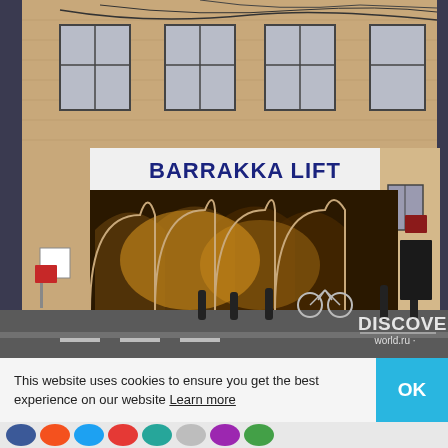[Figure (photo): Nighttime photograph of the Barrakka Lift entrance in Valletta, Malta. A large stone building with arched passageways illuminated in warm orange light. A white banner sign reads 'BARRAKKA LIFT' in bold dark blue text. Several bollards line the street and a vending kiosk is visible. Watermark 'DISCOVER world.ru' in bottom right corner.]
This website uses cookies to ensure you get the best experience on our website Learn more
OK